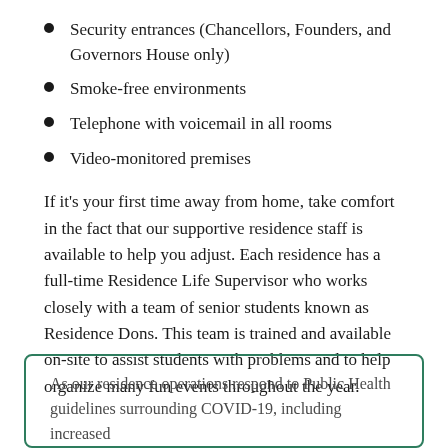Security entrances (Chancellors, Founders, and Governors House only)
Smoke-free environments
Telephone with voicemail in all rooms
Video-monitored premises
If it's your first time away from home, take comfort in the fact that our supportive residence staff is available to help you adjust. Each residence has a full-time Residence Life Supervisor who works closely with a team of senior students known as Residence Dons. This team is trained and available on-site to assist students with problems and to help organize many fun events throughout the year.
As our residence operations respond to Public Health guidelines surrounding COVID-19, including increased